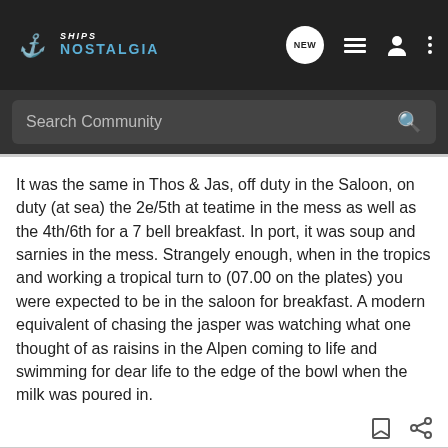Ships Nostalgia
It was the same in Thos & Jas, off duty in the Saloon, on duty (at sea) the 2e/5th at teatime in the mess as well as the 4th/6th for a 7 bell breakfast. In port, it was soup and sarnies in the mess. Strangely enough, when in the tropics and working a tropical turn to (07.00 on the plates) you were expected to be in the saloon for breakfast. A modern equivalent of chasing the jasper was watching what one thought of as raisins in the Alpen coming to life and swimming for dear life to the edge of the bowl when the milk was poured in.
James_C • Malim Sahib Moderator 🇬🇧